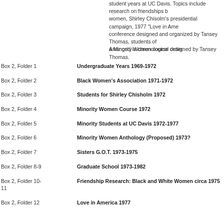student years at UC Davis. Topics include research on friendships between women, Shirley Chisolm's presidential campaign, 1977 "Love in America" conference designed and organized by Tansey Thomas, students of a Minority Women course designed by Tansey Thomas.
Arranged in chronological order.
Box 2, Folder 1    Undergraduate Years 1969-1972
Box 2, Folder 2    Black Women's Association 1971-1972
Box 2, Folder 3    Students for Shirley Chisholm 1972
Box 2, Folder 4    Minority Women Course 1972
Box 2, Folder 5    Minority Students at UC Davis 1972-1977
Box 2, Folder 6    Minority Women Anthology (Proposed) 1973?
Box 2, Folder 7    Sisters G.O.T. 1973-1975
Box 2, Folder 8-9    Graduate School 1973-1982
Box 2, Folder 10-11    Friendship Research: Black and White Women circa 1975
Box 2, Folder 12    Love in America 1977